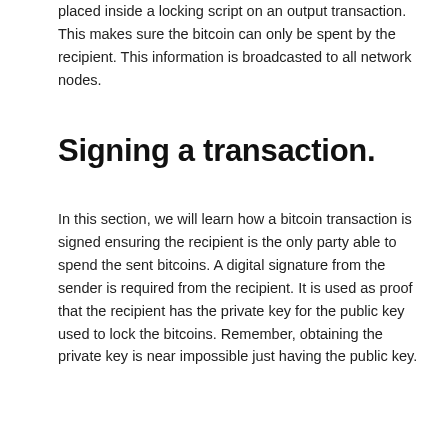placed inside a locking script on an output transaction. This makes sure the bitcoin can only be spent by the recipient. This information is broadcasted to all network nodes.
Signing a transaction.
In this section, we will learn how a bitcoin transaction is signed ensuring the recipient is the only party able to spend the sent bitcoins. A digital signature from the sender is required from the recipient. It is used as proof that the recipient has the private key for the public key used to lock the bitcoins. Remember, obtaining the private key is near impossible just having the public key.
[Figure (schematic): Diagram showing a Private Key box connected to a cryptographic function box, which outputs scriptPubKey and scriptSig fields containing Public Key and Signature boxes respectively, with an arrow pointing to the Signature box.]